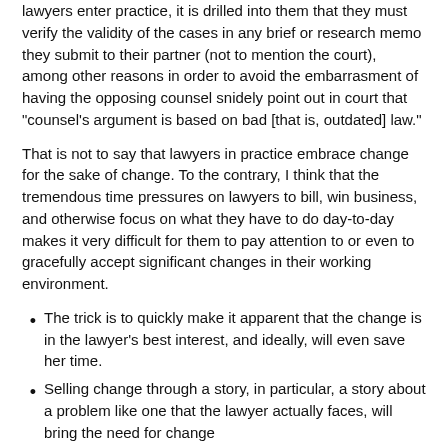lawyers enter practice, it is drilled into them that they must verify the validity of the cases in any brief or research memo they submit to their partner (not to mention the court), among other reasons in order to avoid the embarrasment of having the opposing counsel snidely point out in court that "counsel's argument is based on bad [that is, outdated] law."
That is not to say that lawyers in practice embrace change for the sake of change. To the contrary, I think that the tremendous time pressures on lawyers to bill, win business, and otherwise focus on what they have to do day-to-day makes it very difficult for them to pay attention to or even to gracefully accept significant changes in their working environment.
The trick is to quickly make it apparent that the change is in the lawyer's best interest, and ideally, will even save her time.
Selling change through a story, in particular, a story about a problem like one that the lawyer actually faces, will bring the need for change